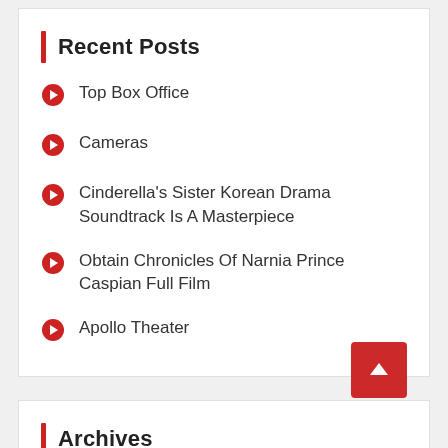Recent Posts
Top Box Office
Cameras
Cinderella's Sister Korean Drama Soundtrack Is A Masterpiece
Obtain Chronicles Of Narnia Prince Caspian Full Film
Apollo Theater
Archives